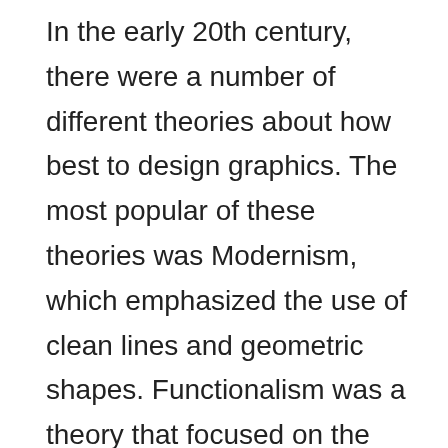In the early 20th century, there were a number of different theories about how best to design graphics. The most popular of these theories was Modernism, which emphasized the use of clean lines and geometric shapes. Functionalism was a theory that focused on the function of a piece of graphic design. Gestalt theory argued that objects are perceived as wholes rather than individual parts and so should be designed in such a way that this is reflected in the layout of a document or website. Finally, postmodernism is a theory that focuses on the use of irony